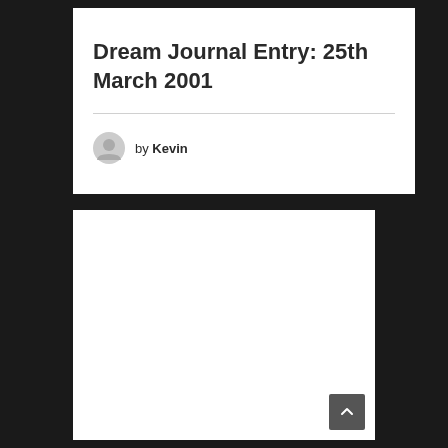Dream Journal Entry: 25th March 2001
by Kevin